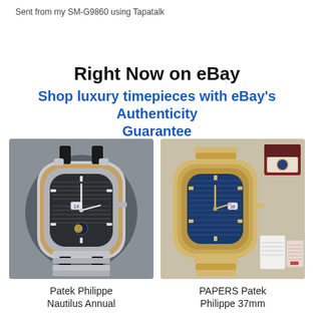Sent from my SM-G9860 using Tapatalk
Right Now on eBay
Shop luxury timepieces with eBay's Authenticity Guarantee
[Figure (photo): Patek Philippe Nautilus Annual watch with dark dial and leather/metal bracelet]
[Figure (photo): PAPERS Patek Philippe 37mm Nautilus with blue dial, gold bracelet, box and papers shown]
Patek Philippe Nautilus Annual
PAPERS Patek Philippe 37mm